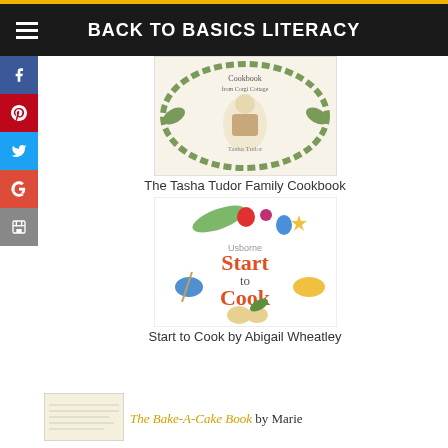BACK TO BASICS LITERACY
[Figure (photo): Book cover of The Tasha Tudor Family Cookbook showing an illustrated scene with a child baking in a kitchen surrounded by a wreath border]
The Tasha Tudor Family Cookbook
[Figure (photo): Book cover of Usborne Start to Cook by Abigail Wheatley with colorful illustrations of cooking ingredients and utensils]
Start to Cook by Abigail Wheatley
[Figure (photo): Partial book cover thumbnail of The Bake-A-Cake Book]
The Bake-A-Cake Book by Marie